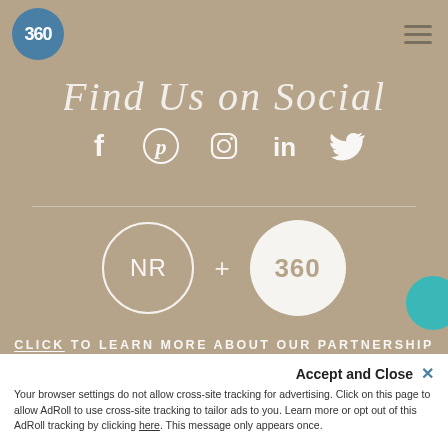360 logo and hamburger menu
Find Us on Social
[Figure (illustration): Row of social media icons: Facebook, Pinterest, Instagram, LinkedIn, Twitter in white on tan background]
[Figure (logo): NR circle logo + 360 filled circle logo with plus sign between them]
CLICK TO LEARN MORE ABOUT OUR PARTNERSHIP
BEACHLIFE MAGAZINE | CONTACT US | PRIVACY POLICY | OWNER LOGIN
Accept and Close ×
Your browser settings do not allow cross-site tracking for advertising. Click on this page to allow AdRoll to use cross-site tracking to tailor ads to you. Learn more or opt out of this AdRoll tracking by clicking here. This message only appears once.